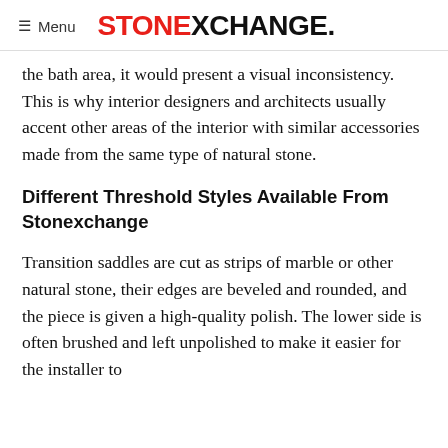≡ Menu  STONEXCHANGE.
the bath area, it would present a visual inconsistency. This is why interior designers and architects usually accent other areas of the interior with similar accessories made from the same type of natural stone.
Different Threshold Styles Available From Stonexchange
Transition saddles are cut as strips of marble or other natural stone, their edges are beveled and rounded, and the piece is given a high-quality polish. The lower side is often brushed and left unpolished to make it easier for the installer to